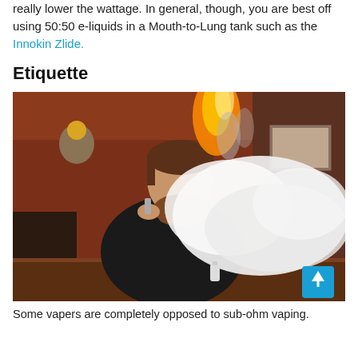really lower the wattage. In general, though, you are best off using 50:50 e-liquids in a Mouth-to-Lung tank such as the Innokin Zlide.
Etiquette
[Figure (photo): A bearded man wearing a dark sweater exhales a large cloud of vapour while holding a vaping device, sitting at a wooden table in a room with an orange wall and decorative items in the background. A blue scroll-to-top button is visible in the lower right corner of the image.]
Some vapers are completely opposed to sub-ohm vaping.